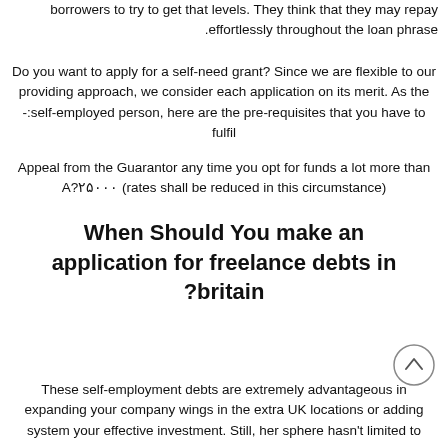borrowers to try to get that levels. They think that they may repay effortlessly throughout the loan phrase.
Do you want to apply for a self-need grant? Since we are flexible to our providing approach, we consider each application on its merit. As the self-employed person, here are the pre-requisites that you have to fulfil:
Appeal from the Guarantor any time you opt for funds a lot more than A?25000 (rates shall be reduced in this circumstance)
When Should You make an application for freelance debts in britain?
These self-employment debts are extremely advantageous in expanding your company wings in the extra UK locations or adding system your effective investment. Still, her sphere hasn't limited to